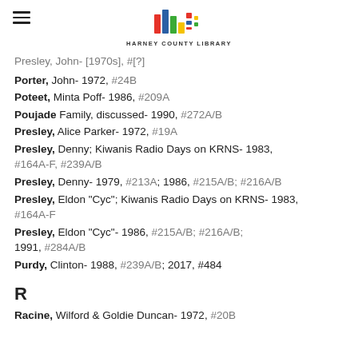Harney County Library
Presley, John- [1970s], #[?]
Porter, John- 1972, #24B
Poteet, Minta Poff- 1986, #209A
Poujade Family, discussed- 1990, #272A/B
Presley, Alice Parker- 1972, #19A
Presley, Denny; Kiwanis Radio Days on KRNS- 1983, #164A-F, #239A/B
Presley, Denny- 1979, #213A; 1986, #215A/B; #216A/B
Presley, Eldon "Cyc"; Kiwanis Radio Days on KRNS- 1983, #164A-F
Presley, Eldon "Cyc"- 1986, #215A/B; #216A/B; 1991, #284A/B
Purdy, Clinton- 1988, #239A/B; 2017, #484
R
Racine, Wilford & Goldie Duncan- 1972, #20B